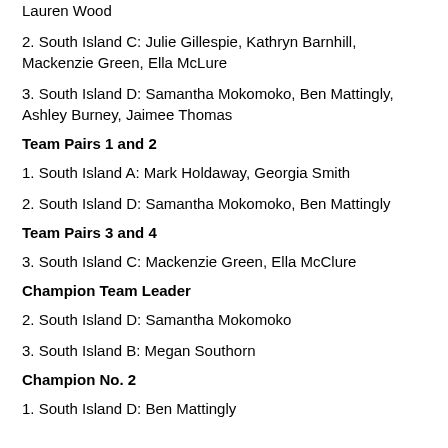Lauren Wood
2. South Island C: Julie Gillespie, Kathryn Barnhill, Mackenzie Green, Ella McLure
3. South Island D: Samantha Mokomoko, Ben Mattingly, Ashley Burney, Jaimee Thomas
Team Pairs 1 and 2
1. South Island A: Mark Holdaway, Georgia Smith
2. South Island D: Samantha Mokomoko, Ben Mattingly
Team Pairs 3 and 4
3. South Island C: Mackenzie Green, Ella McClure
Champion Team Leader
2. South Island D: Samantha Mokomoko
3. South Island B: Megan Southorn
Champion No. 2
1. South Island D: Ben Mattingly